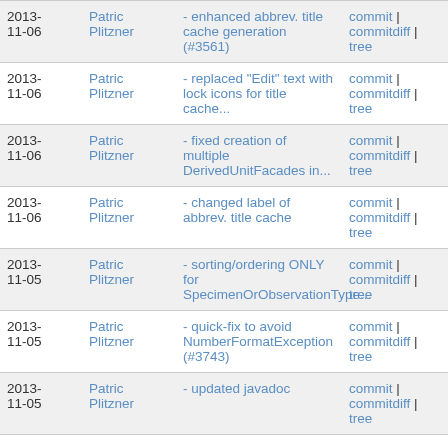| Date | Author | Message | Links |
| --- | --- | --- | --- |
| 2013-11-06 | Patric Plitzner | - enhanced abbrev. title cache generation (#3561) | commit | commitdiff | tree |
| 2013-11-06 | Patric Plitzner | - replaced "Edit" text with lock icons for title cache... | commit | commitdiff | tree |
| 2013-11-06 | Patric Plitzner | - fixed creation of multiple DerivedUnitFacades in... | commit | commitdiff | tree |
| 2013-11-06 | Patric Plitzner | - changed label of abbrev. title cache | commit | commitdiff | tree |
| 2013-11-05 | Patric Plitzner | - sorting/ordering ONLY for SpecimenOrObservationType... | commit | commitdiff | tree |
| 2013-11-05 | Patric Plitzner | - quick-fix to avoid NumberFormatException (#3743) | commit | commitdiff | tree |
| 2013-11-05 | Patric Plitzner | - updated javadoc | commit | commitdiff | tree |